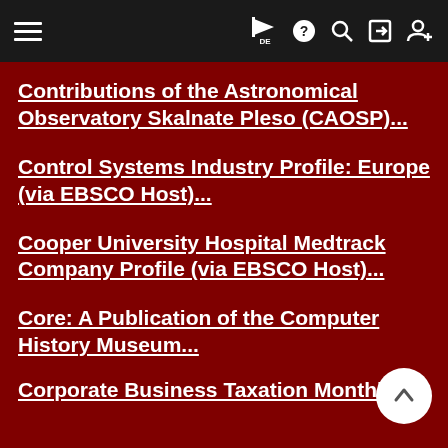Navigation bar with hamburger menu, DE flag, help, search, login, and register icons
Contributions of the Astronomical Observatory Skalnate Pleso (CAOSP)...
Control Systems Industry Profile: Europe (via EBSCO Host)...
Cooper University Hospital Medtrack Company Profile (via EBSCO Host)...
Core: A Publication of the Computer History Museum...
Corporate Business Taxation Monthly